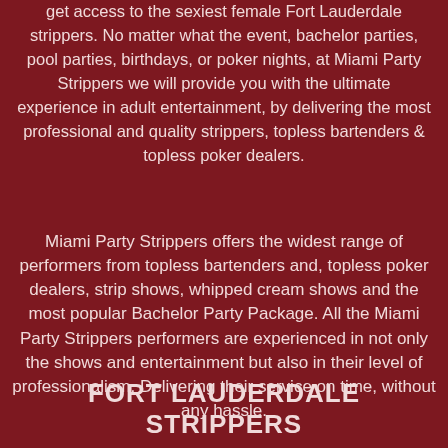get access to the sexiest female Fort Lauderdale strippers. No matter what the event, bachelor parties, pool parties, birthdays, or poker nights, at Miami Party Strippers we will provide you with the ultimate experience in adult entertainment, by delivering the most professional and quality strippers, topless bartenders & topless poker dealers.
Miami Party Strippers offers the widest range of performers from topless bartenders and, topless poker dealers, strip shows, whipped cream shows and the most popular Bachelor Party Package. All the Miami Party Strippers performers are experienced in not only the shows and entertainment but also in their level of professionalism. Delivering their service on time, without any hassle.
FORT LAUDERDALE STRIPPERS